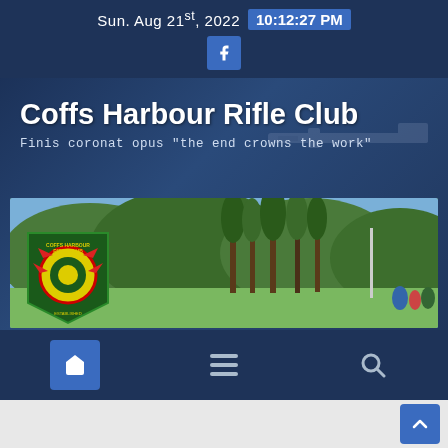Sun. Aug 21st, 2022  10:12:27 PM
Coffs Harbour Rifle Club
Finis coronat opus "the end crowns the work"
[Figure (photo): Outdoor rifle range scene with green trees and hillside in background; club logo shield (green with red/yellow design) in bottom left corner]
Navigation bar with home, menu, and search icons